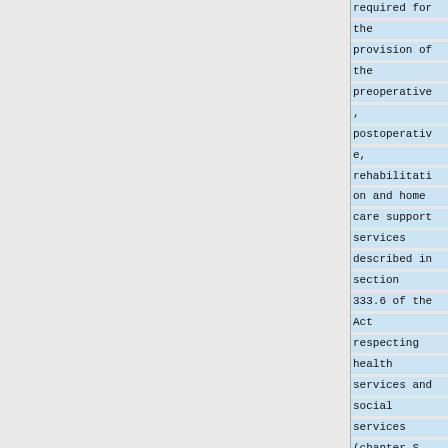required for the provision of the preoperative, postoperative, rehabilitation and home care support services described in section 333.6 of the Act respecting health services and social services (chapter S-